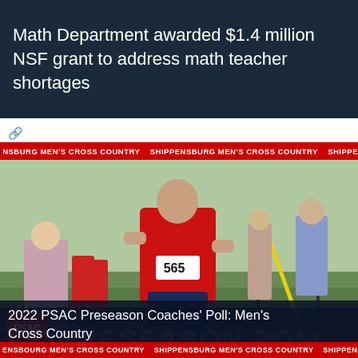Math Department awarded $1.4 million NSF grant to address math teacher shortages
[Figure (photo): Cross country runner wearing number 565 in red uniform running on grass course, with SHIPPENSBURG MEN'S CROSS COUNTRY ticker banner]
2022 PSAC Preseason Coaches' Poll: Men's Cross Country